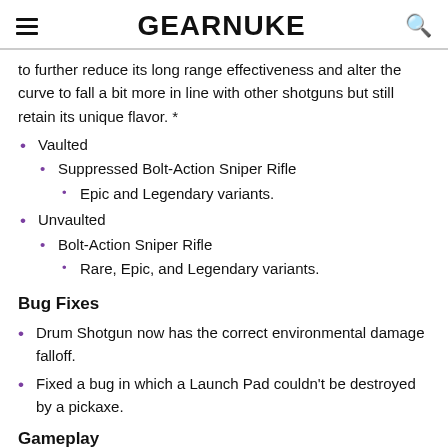GEARNUKE
to further reduce its long range effectiveness and alter the curve to fall a bit more in line with other shotguns but still retain its unique flavor. *
Vaulted
Suppressed Bolt-Action Sniper Rifle
Epic and Legendary variants.
Unvaulted
Bolt-Action Sniper Rifle
Rare, Epic, and Legendary variants.
Bug Fixes
Drum Shotgun now has the correct environmental damage falloff.
Fixed a bug in which a Launch Pad couldn't be destroyed by a pickaxe.
Gameplay